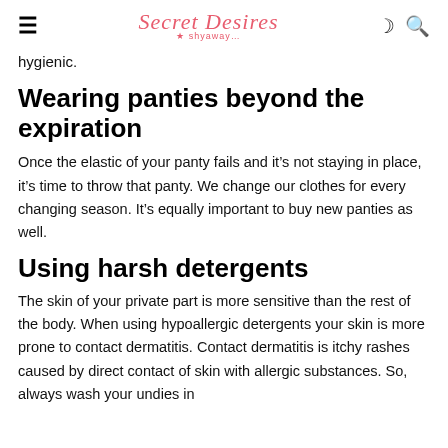Secret Desires by Shyaway
hygienic.
Wearing panties beyond the expiration
Once the elastic of your panty fails and it's not staying in place, it's time to throw that panty. We change our clothes for every changing season. It's equally important to buy new panties as well.
Using harsh detergents
The skin of your private part is more sensitive than the rest of the body. When using hypoallergic detergents your skin is more prone to contact dermatitis. Contact dermatitis is itchy rashes caused by direct contact of skin with allergic substances. So, always wash your undies in